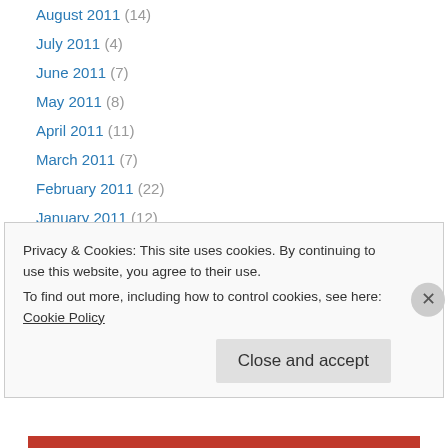August 2011 (14)
July 2011 (4)
June 2011 (7)
May 2011 (8)
April 2011 (11)
March 2011 (7)
February 2011 (22)
January 2011 (12)
December 2010 (9)
November 2010 (9)
October 2010 (8)
September 2010 (13)
August 2010 (9)
Privacy & Cookies: This site uses cookies. By continuing to use this website, you agree to their use. To find out more, including how to control cookies, see here: Cookie Policy